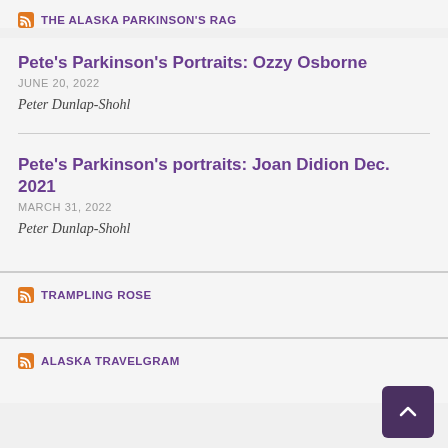THE ALASKA PARKINSON'S RAG
Pete's Parkinson's Portraits: Ozzy Osborne
JUNE 20, 2022
Peter Dunlap-Shohl
Pete's Parkinson's portraits: Joan Didion Dec. 2021
MARCH 31, 2022
Peter Dunlap-Shohl
TRAMPLING ROSE
ALASKA TRAVELGRAM